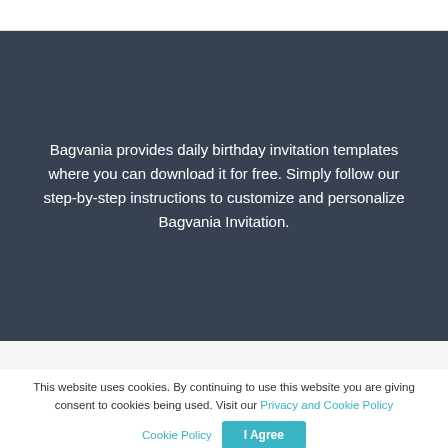Bagvania provides daily birthday invitation templates where you can download it for free. Simply follow our step-by-step instructions to customize and personalize Bagvania Invitation.
This website uses cookies. By continuing to use this website you are giving consent to cookies being used. Visit our Privacy and Cookie Policy
Terms and Conditions · Privacy Policy